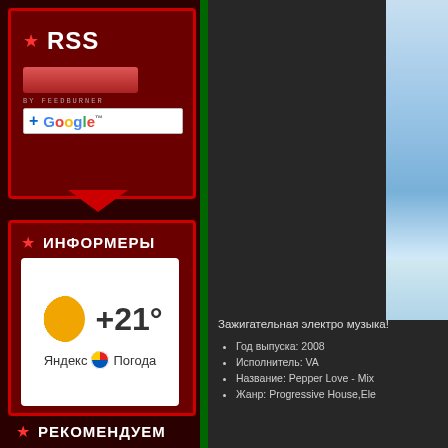RSS
[Figure (screenshot): FeedBurner RSS button and Google+ subscription button]
ИНФОРМЕРЫ
[Figure (screenshot): Yandex Pogoda weather widget showing moon icon, +21 degrees, and Yandex Погода branding]
РЕКОМЕНДУЕМ
[Figure (photo): Partial image on the right side showing sky/clouds]
Зажигательная электро музыка!
Год выпуска: 2008
Исполнитель: VA
Название: Pepper Love - Mix
Жанр: Progressive House, Ele